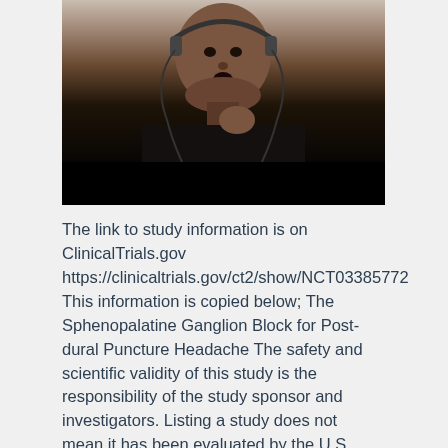[Figure (photo): A person wearing headphones and a dark shirt, appearing to speak or sing, with wires visible. The lower portion of the image is a solid black bar (video player controls area).]
The link to study information is on ClinicalTrials.gov https://clinicaltrials.gov/ct2/show/NCT03385772 This information is copied below; The Sphenopalatine Ganglion Block for Post-dural Puncture Headache The safety and scientific validity of this study is the responsibility of the study sponsor and investigators. Listing a study does not mean it has been evaluated by the U.S. Federal Government. Know the risks and